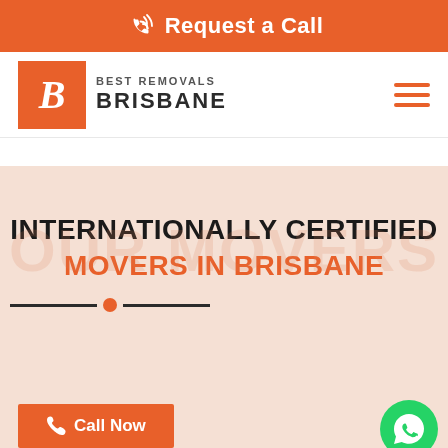Request a Call
[Figure (logo): Best Removals Brisbane logo with orange B box and company name]
INTERNATIONALLY CERTIFIED MOVERS IN BRISBANE
[Figure (infographic): Call Now button with phone icon and WhatsApp floating button]